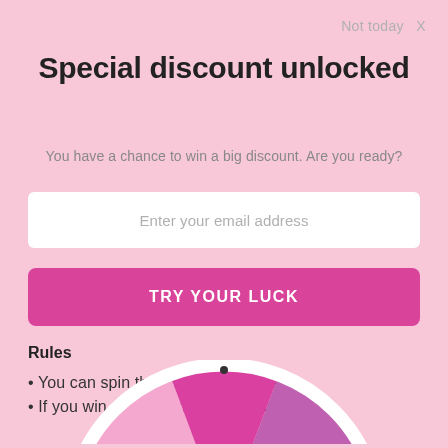Not today  X
Special discount unlocked
You have a chance to win a big discount. Are you ready?
Enter your email address
TRY YOUR LUCK
Rules
• You can spin the wheel only once.
• If you win, you can claim your coupon!
[Figure (illustration): Bottom portion of a spin wheel with pink and purple segments, white border, and a small black center dot visible at the top edge of the wheel.]